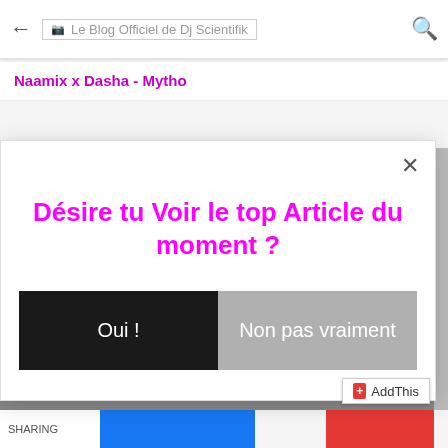Le Blog Officiel de Dj Scientifik
Naamix x Dasha - Mytho
Désire tu Voir le top Article du moment ?
Oui !
Non pas vraiment
AddThis